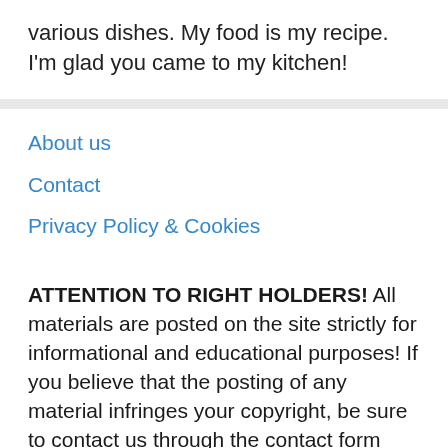various dishes. My food is my recipe. I'm glad you came to my kitchen!
About us
Contact
Privacy Policy & Cookies
ATTENTION TO RIGHT HOLDERS! All materials are posted on the site strictly for informational and educational purposes! If you believe that the posting of any material infringes your copyright, be sure to contact us through the contact form and your material will be removed!